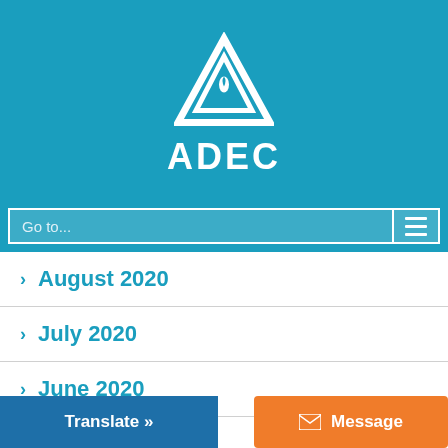[Figure (logo): ADEC logo: white triangle with flame icon on teal background, with text ADEC below]
August 2020
July 2020
June 2020
May 2020
April 2020